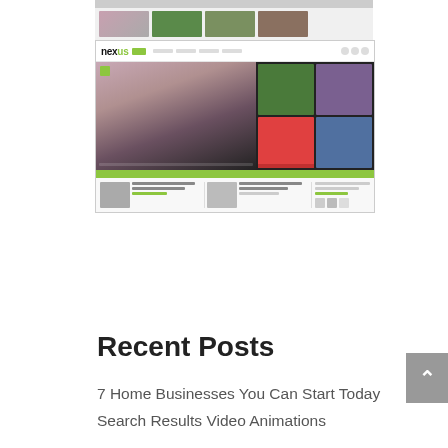[Figure (screenshot): Screenshot of a website called 'nexus' showing a magazine-style layout with a hero image of a face, colorful grid thumbnails, and smaller article thumbnails at the bottom.]
Recent Posts
7 Home Businesses You Can Start Today
Search Results Video Animations
Learn to Drive Medicine Hat with The Driver's Seat
Make Money Medicine Hat Learn to Earn Online for Free